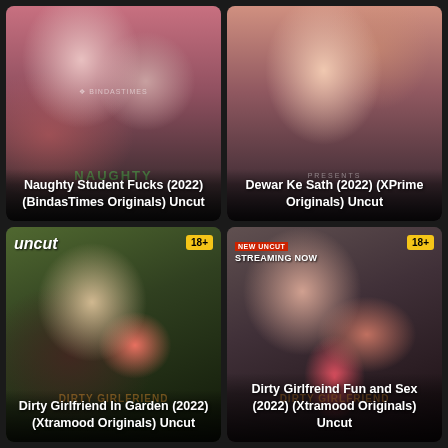[Figure (photo): Movie thumbnail for Naughty Student Fucks (2022) (BindasTimes Originals) Uncut - shows couple in intimate pose]
Naughty Student Fucks (2022) (BindasTimes Originals) Uncut
[Figure (photo): Movie thumbnail for Dewar Ke Sath (2022) (XPrime Originals) Uncut - shows couple in intimate pose]
Dewar Ke Sath (2022) (XPrime Originals) Uncut
[Figure (photo): Movie thumbnail for Dirty Girlfriend In Garden (2022) (Xtramood Originals) Uncut - shows couple in garden setting, Uncut logo top left, 18+ badge top right]
Dirty Girlfriend In Garden (2022) (Xtramood Originals) Uncut
[Figure (photo): Movie thumbnail for Dirty Girlfreind Fun and Sex (2022) (Xtramood Originals) Uncut - shows couple, NEW UNCUT STREAMING NOW label top left, 18+ badge top right]
Dirty Girlfreind Fun and Sex (2022) (Xtramood Originals) Uncut